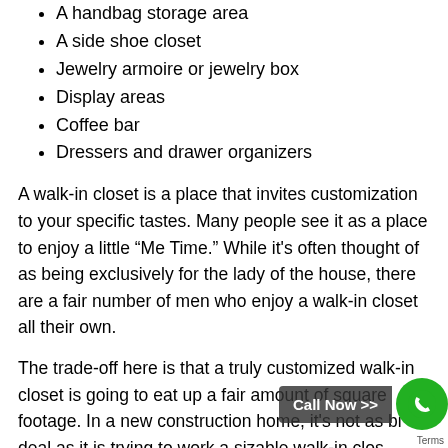A handbag storage area
A side shoe closet
Jewelry armoire or jewelry box
Display areas
Coffee bar
Dressers and drawer organizers
A walk-in closet is a place that invites customization to your specific tastes. Many people see it as a place to enjoy a little “Me Time.” While it’s often thought of as being exclusively for the lady of the house, there are a fair number of men who enjoy a walk-in closet all their own.
The trade-off here is that a truly customized walk-in closet is going to eat up a fair amount of square footage. In a new construction home, it’s not as big a deal as it is trying to work a sizable walk-in closet into a remodeling project. Especially if the home didn’t